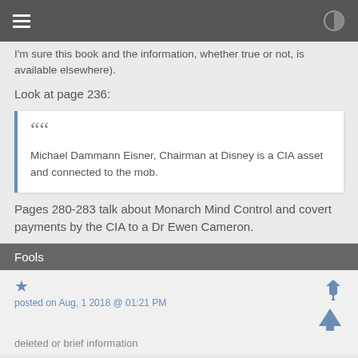I'm sure this book and the information, whether true or not, is available elsewhere).
Look at page 236:
Michael Dammann Eisner, Chairman at Disney is a CIA asset and connected to the mob.
Pages 280-283 talk about Monarch Mind Control and covert payments by the CIA to a Dr Ewen Cameron.
Fools
posted on Aug, 1 2018 @ 01:21 PM
deleted or brief information